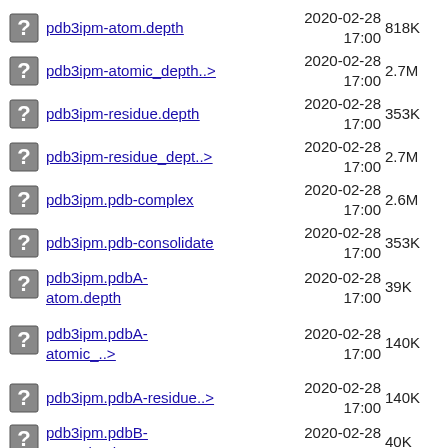pdb3ipm-atom.depth  2020-02-28 17:00  818K
pdb3ipm-atomic_depth..>  2020-02-28 17:00  2.7M
pdb3ipm-residue.depth  2020-02-28 17:00  353K
pdb3ipm-residue_dept..>  2020-02-28 17:00  2.7M
pdb3ipm.pdb-complex  2020-02-28 17:00  2.6M
pdb3ipm.pdb-consolidate  2020-02-28 17:00  353K
pdb3ipm.pdbA-atom.depth  2020-02-28 17:00  39K
pdb3ipm.pdbA-atomic_..>  2020-02-28 17:00  140K
pdb3ipm.pdbA-residue..>  2020-02-28 17:00  140K
pdb3ipm.pdbB-atom.depth  2020-02-28 17:00  40K
pdb3ipm.pdbB-atomic_..>  2020-02-28 17:00  140K